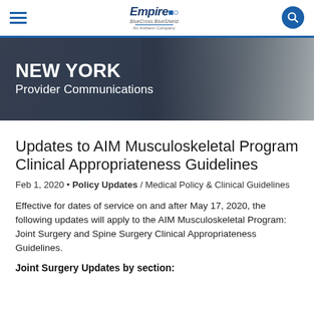Empire BlueCross BlueShield | An Anthem Company
[Figure (screenshot): Hero banner image showing NEW YORK Provider Communications over a photo of hands holding a tablet device]
Updates to AIM Musculoskeletal Program Clinical Appropriateness Guidelines
Feb 1, 2020 • Policy Updates / Medical Policy & Clinical Guidelines
Effective for dates of service on and after May 17, 2020, the following updates will apply to the AIM Musculoskeletal Program: Joint Surgery and Spine Surgery Clinical Appropriateness Guidelines.
Joint Surgery Updates by section: